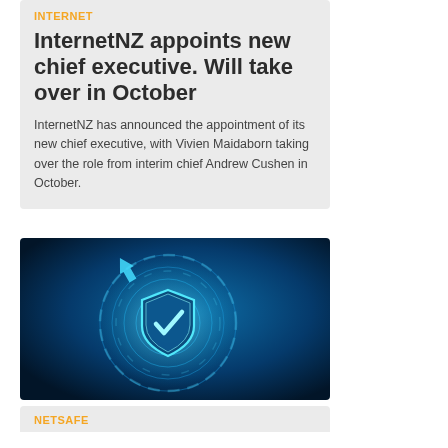INTERNET
InternetNZ appoints new chief executive. Will take over in October
InternetNZ has announced the appointment of its new chief executive, with Vivien Maidaborn taking over the role from interim chief Andrew Cushen in October.
[Figure (photo): Dark blue background with a glowing cyan shield and checkmark icon surrounded by circular rings and an upward arrow, representing cybersecurity or internet safety.]
NETSAFE